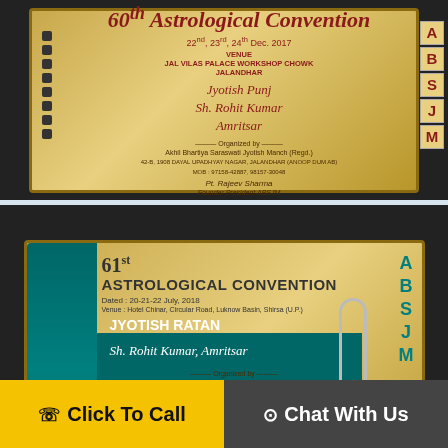[Figure (photo): Photo of the 60th Astrological Convention plaque/certificate awarded to Sh. Rohit Kumar Amritsar, organized by Akhil Bhartiya Saraswati Jyotish Manch (Regd.), dated 22nd, 23rd, 24th Dec. 2017, venue Jal Vilas Palace Workshop Chowk Jalandhar, signed by Pt. Rajeev Sharma, Founder President ABSJM]
[Figure (photo): Photo of the 61st Astrological Convention plaque awarded Jyotish Ratan to Sh. Rohit Kumar Amritsar, dated 20-21-22 July 2018, venue Hotel Chinar Circular Road Luknow Basin Shirsa (U.P.), organized by Akhil Bhartiya Saraswati Jyotish Manch (Regd.)]
Click To Call
Chat With Us